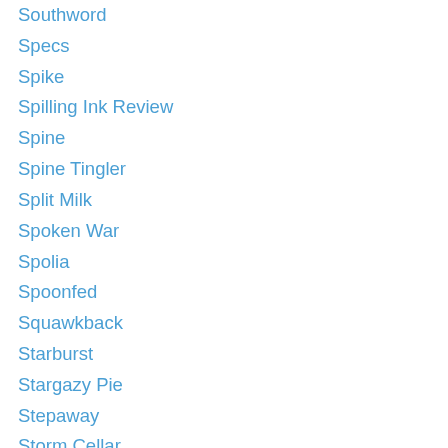Southword
Specs
Spike
Spilling Ink Review
Spine
Spine Tingler
Split Milk
Spoken War
Spolia
Spoonfed
Squawkback
Starburst
Stargazy Pie
Stepaway
Storm Cellar
Storyglossia
Storyscape
Straight From the Fridge
Strange Bounce
Strange Horizons